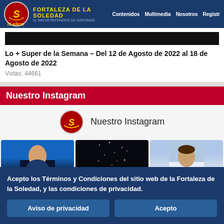FORTALEZA DE LA SOLEDAD — Contenidos  Multimedia  Nosotros  Registr
[Figure (screenshot): Black image banner (article thumbnail)]
Lo + Super de la Semana – Del 12 de Agosto de 2022 al 18 de Agosto de 2022
Vistas: 44661
Nuestro Instagram
[Figure (infographic): Instagram widget showing logo, handle 'Nuestro Instagram', and three photo thumbnails: bald man, dark/star image, dark-haired man]
Acepto los Términos y Condiciones del sitio web de la Fortaleza de la Soledad, y las condiciones de privacidad.
Aviso de privacidad    Acepto